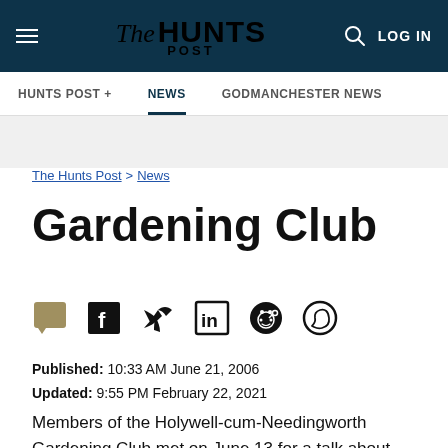The Hunts Post — LOG IN
HUNTS POST+ | NEWS | GODMANCHESTER NEWS
The Hunts Post > News
Gardening Club
Published: 10:33 AM June 21, 2006
Updated: 9:55 PM February 22, 2021
Members of the Holywell-cum-Needingworth Gardening Club met on June 13 for a talk about Gardens in the